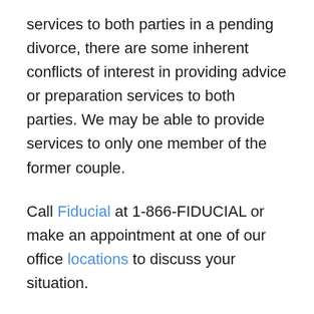services to both parties in a pending divorce, there are some inherent conflicts of interest in providing advice or preparation services to both parties. We may be able to provide services to only one member of the former couple.
Call Fiducial at 1-866-FIDUCIAL or make an appointment at one of our office locations to discuss your situation.
Ready to book an appointment now? Click here. Know someone who might need our services? We love referrals!